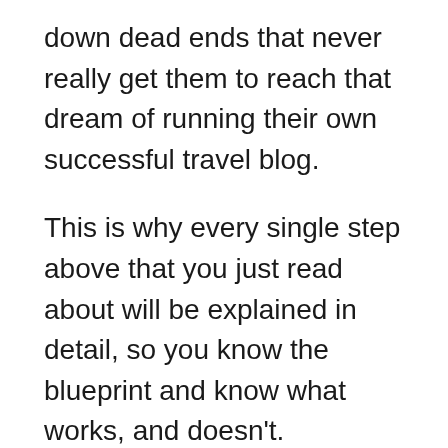down dead ends that never really get them to reach that dream of running their own successful travel blog.
This is why every single step above that you just read about will be explained in detail, so you know the blueprint and know what works, and doesn't.
How much money can a travel blog make?
This is a great question and the truth is, it all varies. The simple answer is the more visitors your travel blog can get